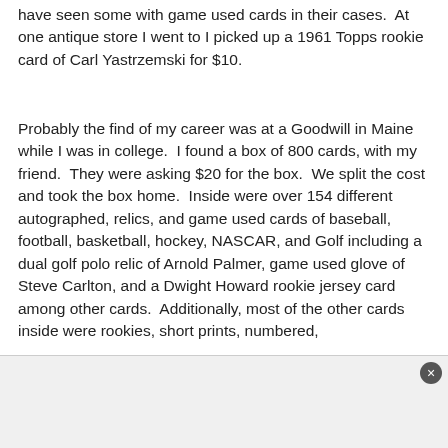have seen some with game used cards in their cases.  At one antique store I went to I picked up a 1961 Topps rookie card of Carl Yastrzemski for $10.
Probably the find of my career was at a Goodwill in Maine while I was in college.  I found a box of 800 cards, with my friend.  They were asking $20 for the box.  We split the cost and took the box home.  Inside were over 154 different autographed, relics, and game used cards of baseball, football, basketball, hockey, NASCAR, and Golf including a dual golf polo relic of Arnold Palmer, game used glove of Steve Carlton, and a Dwight Howard rookie jersey card among other cards.  Additionally, most of the other cards inside were rookies, short prints, numbered,